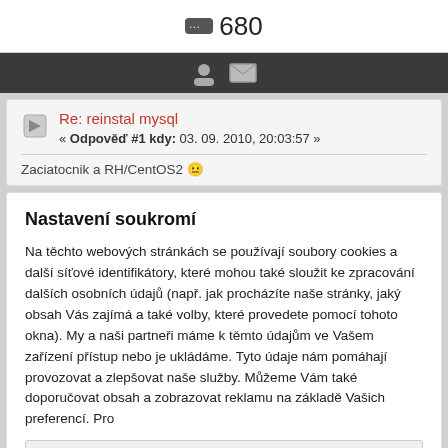680
[Figure (screenshot): Dark toolbar with user and mail icons]
Re: reinstal mysql
« Odpověď #1 kdy: 03. 09. 2010, 20:03:57 »
Zaciatocnik a RH/CentOS2
Nastavení soukromí
Na těchto webových stránkách se používají soubory cookies a další síťové identifikátory, které mohou také sloužit ke zpracování dalších osobních údajů (např. jak procházíte naše stránky, jaký obsah Vás zajímá a také volby, které provedete pomocí tohoto okna). My a naši partneři máme k těmto údajům ve Vašem zařízení přístup nebo je ukládáme. Tyto údaje nám pomáhají provozovat a zlepšovat naše služby. Můžeme Vám také doporučovat obsah a zobrazovat reklamu na základě Vašich preferencí. Pro
Podrobné nastavení
Rozumím a přijímám